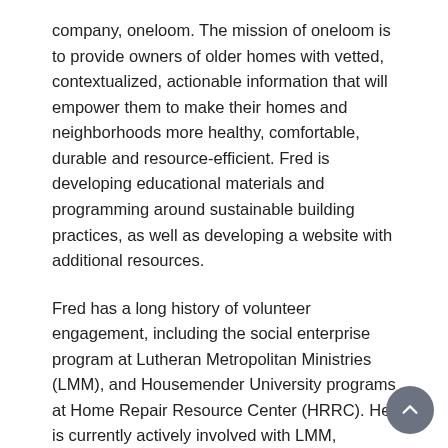company, oneloom. The mission of oneloom is to provide owners of older homes with vetted, contextualized, actionable information that will empower them to make their homes and neighborhoods more healthy, comfortable, durable and resource-efficient. Fred is developing educational materials and programming around sustainable building practices, as well as developing a website with additional resources.
Fred has a long history of volunteer engagement, including the social enterprise program at Lutheran Metropolitan Ministries (LMM), and Housemender University programs at Home Repair Resource Center (HRRC). He is currently actively involved with LMM, Lakewood Alive and HRRC. Fred is very excited to be working with MAHO and wants to help